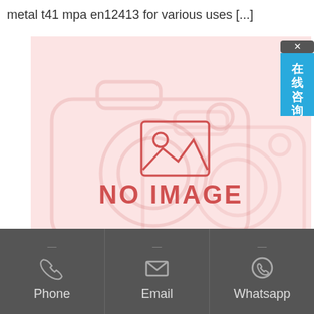metal t41 mpa en12413 for various uses [...]
[Figure (other): No image placeholder with pink background and camera icon silhouettes, showing 'NO IMAGE' text in red]
[Figure (other): Live chat bubble overlay with Chinese characters 在线咨询 (Online Consultation) on blue background]
Phone | Email | Whatsapp